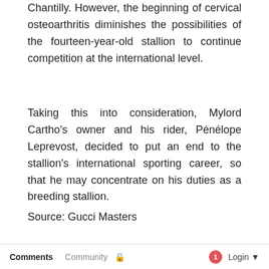Chantilly. However, the beginning of cervical osteoarthritis diminishes the possibilities of the fourteen-year-old stallion to continue competition at the international level.
Taking this into consideration, Mylord Cartho’s owner and his rider, Pénélope Leprevost, decided to put an end to the stallion’s international sporting career, so that he may concentrate on his duties as a breeding stallion.
Source: Gucci Masters
Comments  Community  🔒  1  Login